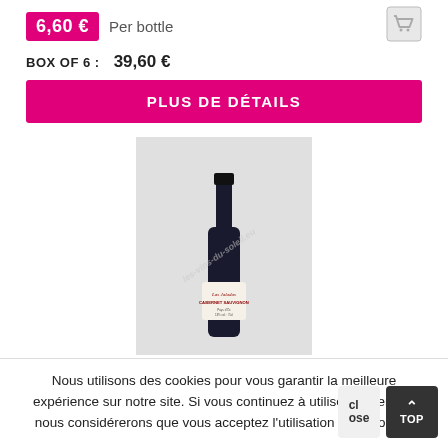6,60 € Per bottle
BOX OF 6 : 39,60 €
PLUS DE DÉTAILS
[Figure (photo): A bottle of Cabernet Sauvignon red wine with a label reading 'Las Jaladas Cabernet Sauvignon'. The bottle is dark glass with a black cap, displayed against a light grey background. A watermark 'les-vins-du-soleil.eu' is overlaid diagonally.]
Nous utilisons des cookies pour vous garantir la meilleure expérience sur notre site. Si vous continuez à utiliser ce dernier, nous considérerons que vous acceptez l'utilisation des cookies.